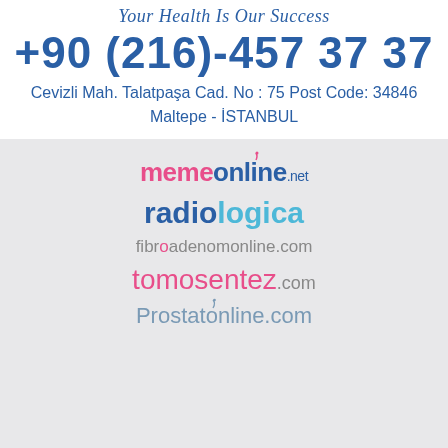Your Health Is Our Success
+90 (216)-457 37 37
Cevizli Mah. Talatpaşa Cad. No : 75 Post Code: 34846 Maltepe - İSTANBUL
[Figure (logo): memeonline.net logo]
[Figure (logo): radiologica logo]
[Figure (logo): fibroademomonline.com logo]
[Figure (logo): tomosentez.com logo]
[Figure (logo): Prostatonline.com logo]
Social media icons: Facebook, YouTube, Instagram, Google+